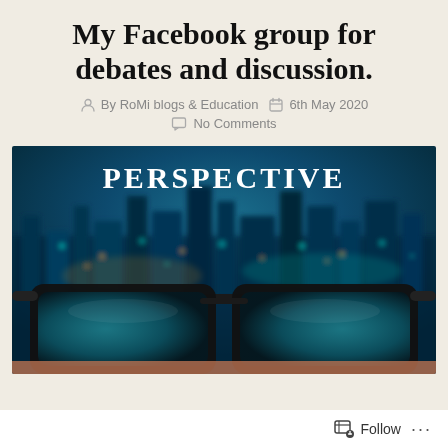My Facebook group for debates and discussion.
By RoMi blogs & Education   6th May 2020   No Comments
[Figure (photo): A photo showing eyeglasses in the foreground with a blurred city skyline in the background; white bold text reads 'PERSPECTIVE' at the top.]
Follow ...